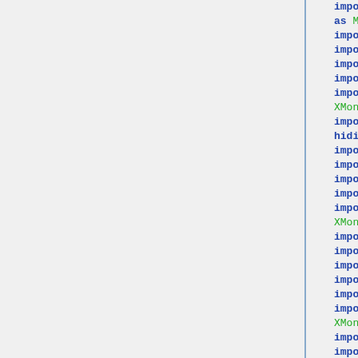import qualified Data.Map as M
import XMonad.Layout.Tabbed
import XMonad.Layout.ResizableTile
import XMonad.Layout.Grid
import XMonad.Layout.Magnifier
import
XMonad.Layout.TabBarDecoration
import XMonad.Hooks.DynamicLog
hiding (shorten)
import XMonad.Actions.CycleWS
import XMonad.Hooks.ManageDocks
import XMonad.Hooks.EwmhDesktops
import XMonad.Actions.DwmPromote
import
XMonad.Actions.UpdatePointer
import XMonad.Hooks.UrgencyHook
import XMonad.Util.Run (spawnPipe)
import System.IO
import XMonad.Prompt
import XMonad.Prompt.Shell
import
XMonad.Util.WorkspaceCompare
import XMonad.Util.EZConfig
import XMonad.Actions.Warp
import Data.Ratio
import XMonad.Layout.Circle

shorten :: Int -> String -> String